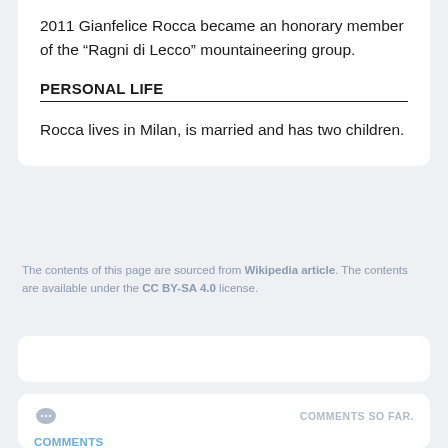2011 Gianfelice Rocca became an honorary member of the “Ragni di Lecco” mountaineering group.
PERSONAL LIFE
Rocca lives in Milan, is married and has two children.
The contents of this page are sourced from Wikipedia article. The contents are available under the CC BY-SA 4.0 license.
COMMENTS SO FAR.
COMMENTS